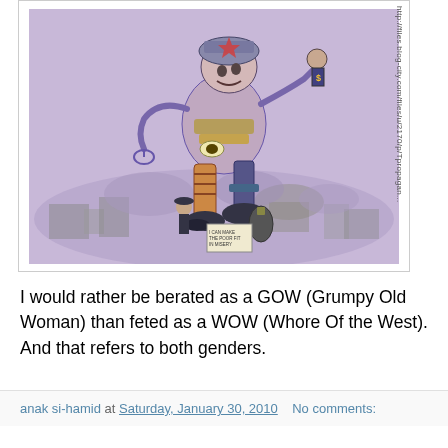[Figure (illustration): A political cartoon/propaganda illustration showing a large grotesque figure with military/mechanical elements standing over a destroyed cityscape with smoke, rendered in purple/lavender tones with some color accents. A URL watermark appears on the right side: http://files.blog-city.com/files/u/2170/p/Tpropagan...]
I would rather be berated as a GOW (Grumpy Old Woman) than feted as a WOW (Whore Of the West). And that refers to both genders.
anak si-hamid at Saturday, January 30, 2010    No comments: